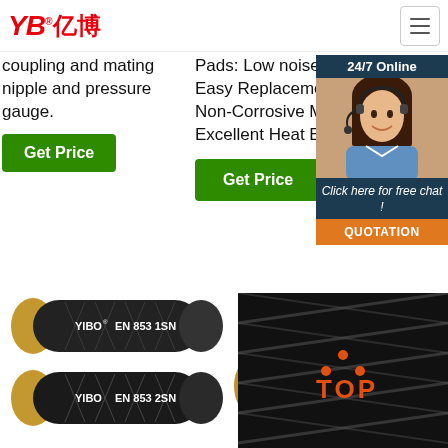YB亿博 logo and navigation menu
coupling and mating nipple and pressure gauge.
Pads: Low noise resin pad Easy Replacement: Fluid: Non-Corrosive Mineral Oil Excellent Heat Expansion ...
Get Price
Get Price
[Figure (photo): Customer service representative wearing headset with 24/7 Online text, Click here for free chat, and QUOTATION button]
[Figure (photo): YIBO EN 853 1SN and YIBO EN 853 2SN hydraulic hoses stacked]
[Figure (photo): YIBO ROTARY HOSE hydraulic hose]
[Figure (photo): Close-up of black braided hydraulic hose with TOP logo overlay]